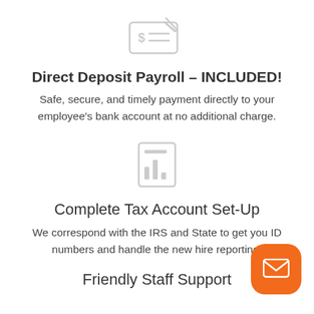[Figure (illustration): Light gray icon of a check with a dollar sign and pen]
Direct Deposit Payroll – INCLUDED!
Safe, secure, and timely payment directly to your employee's bank account at no additional charge.
[Figure (illustration): Light gray icon of a document or ID card with a bar chart]
Complete Tax Account Set-Up
We correspond with the IRS and State to get you ID numbers and handle the new hire reporting.
[Figure (illustration): Orange rounded square button with white envelope/mail icon]
Friendly Staff Support